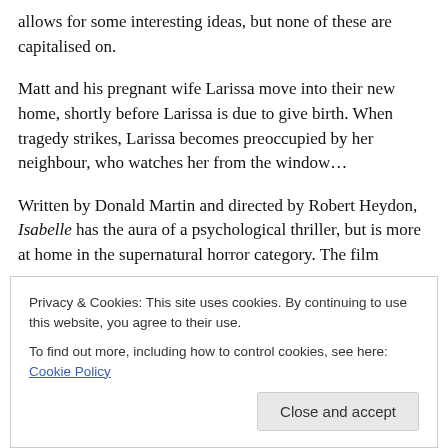allows for some interesting ideas, but none of these are capitalised on.
Matt and his pregnant wife Larissa move into their new home, shortly before Larissa is due to give birth. When tragedy strikes, Larissa becomes preoccupied by her neighbour, who watches her from the window…
Written by Donald Martin and directed by Robert Heydon, Isabelle has the aura of a psychological thriller, but is more at home in the supernatural horror category. The film transitions from one to the other, never really dwelling in
Privacy & Cookies: This site uses cookies. By continuing to use this website, you agree to their use.
To find out more, including how to control cookies, see here: Cookie Policy